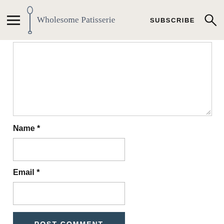Wholesome Patisserie — SUBSCRIBE
Name *
Email *
POST COMMENT